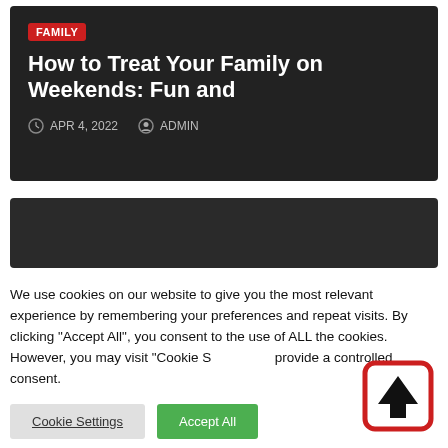FAMILY
How to Treat Your Family on Weekends: Fun and
APR 4, 2022   ADMIN
[Figure (screenshot): Dark gray banner/card placeholder]
We use cookies on our website to give you the most relevant experience by remembering your preferences and repeat visits. By clicking "Accept All", you consent to the use of ALL the cookies. However, you may visit "Cookie Settings" to provide a controlled consent.
Cookie Settings   Accept All